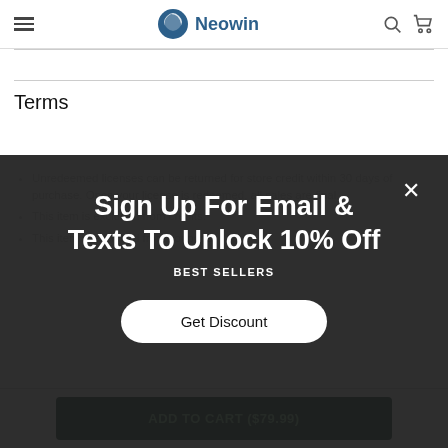Neowin
Terms
Unredeemed licenses can be returned for store credit within 30 days of purchase. Once your license is redeemed, all sales are final.
This item is excluded from credits.
This item is excluded from coupons.
[Figure (screenshot): Email signup popup overlay with dark background, heading 'Sign Up For Email & Texts To Unlock 10% Off', subheading 'BEST SELLERS', a white 'Get Discount' button, and a close X button.]
ADD TO CART ($79.99)